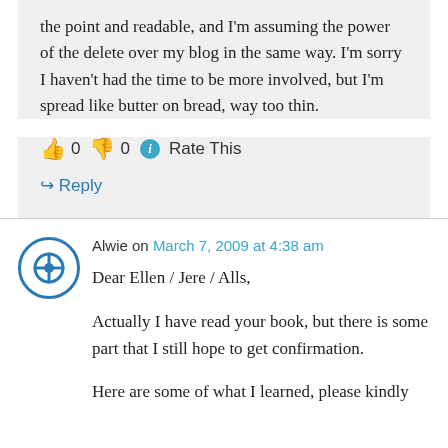the point and readable, and I'm assuming the power of the delete over my blog in the same way. I'm sorry I haven't had the time to be more involved, but I'm spread like butter on bread, way too thin.
👍 0 👎 0 ℹ Rate This
↳ Reply
Alwie on March 7, 2009 at 4:38 am
Dear Ellen / Jere / Alls,
Actually I have read your book, but there is some part that I still hope to get confirmation.
Here are some of what I learned, please kindly correct me if I am...